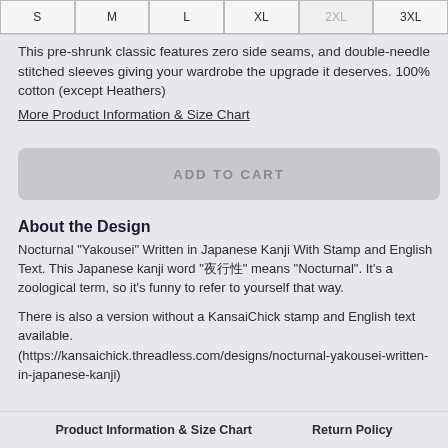S, M, L, XL, 2XL (disabled), 3XL - size selection buttons
This pre-shrunk classic features zero side seams, and double-needle stitched sleeves giving your wardrobe the upgrade it deserves. 100% cotton (except Heathers)
More Product Information & Size Chart
ADD TO CART
About the Design
Nocturnal "Yakousei" Written in Japanese Kanji With Stamp and English Text. This Japanese kanji word "夜行性" means "Nocturnal". It's a zoological term, so it's funny to refer to yourself that way.
There is also a version without a KansaiChick stamp and English text available. (https://kansaichick.threadless.com/designs/nocturnal-yakousei-written-in-japanese-kanji)
Product Information & Size Chart    Return Policy